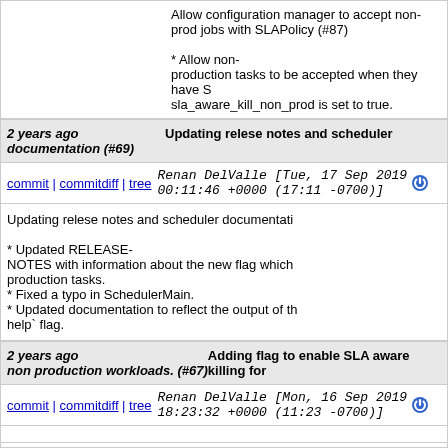Allow configuration manager to accept non-prod jobs with SLAPolicy (#87)

* Allow non-production tasks to be accepted when they have S sla_aware_kill_non_prod is set to true.
2 years ago	documentation (#69)	Updating relese notes and scheduler
commit | commitdiff | tree	Renan DelValle [Tue, 17 Sep 2019 00:11:46 +0000 (17:11 -0700)]
Updating relese notes and scheduler documentati

* Updated RELEASE-NOTES with information about the new flag which production tasks.
* Fixed a typo in SchedulerMain.
* Updated documentation to reflect the output of th help` flag.
2 years ago	Adding flag to enable SLA aware killing for non production workloads. (#67)
commit | commitdiff | tree	Renan DelValle [Mon, 16 Sep 2019 18:23:32 +0000 (11:23 -0700)]